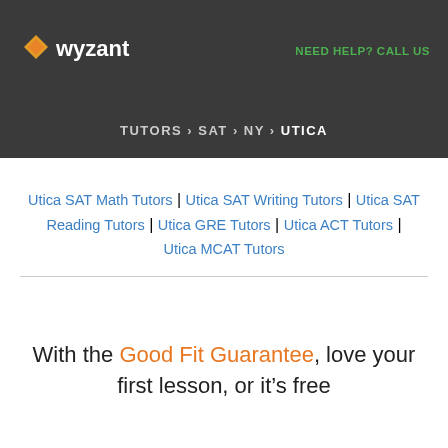Wyzant — NEED HELP? CALL US
TUTORS › SAT › NY › UTICA
Utica SAT Math Tutors | Utica SAT Writing Tutors | Utica SAT Reading Tutors | Utica GRE Tutors | Utica ACT Tutors | Utica MCAT Tutors
With the Good Fit Guarantee, love your first lesson, or it's free